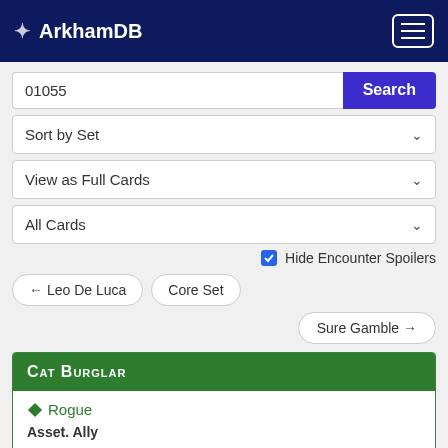ArkhamDB
01055
Sort by Set
View as Full Cards
All Cards
Hide Encounter Spoilers
← Leo De Luca
Core Set
Sure Gamble →
CAT BURGLAR
Rogue
Asset. Ally
Ally. Criminal.
Cost: 4  XP: 1